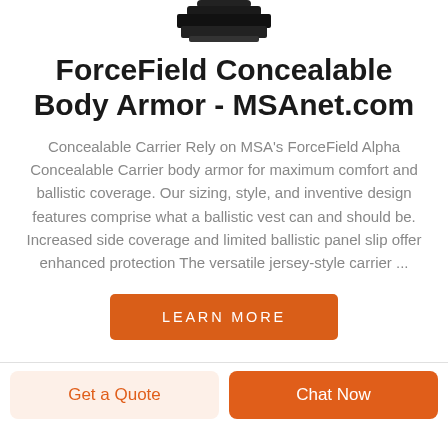[Figure (photo): Top portion of a body armor product silhouette/image, partially cropped at the top of the page]
ForceField Concealable Body Armor - MSAnet.com
Concealable Carrier Rely on MSA's ForceField Alpha Concealable Carrier body armor for maximum comfort and ballistic coverage. Our sizing, style, and inventive design features comprise what a ballistic vest can and should be. Increased side coverage and limited ballistic panel slip offer enhanced protection The versatile jersey-style carrier ...
[Figure (other): LEARN MORE button - orange/dark orange rectangular button with white text]
[Figure (other): Get a Quote button (light orange background) and Chat Now button (orange background) side by side at the bottom of the page]